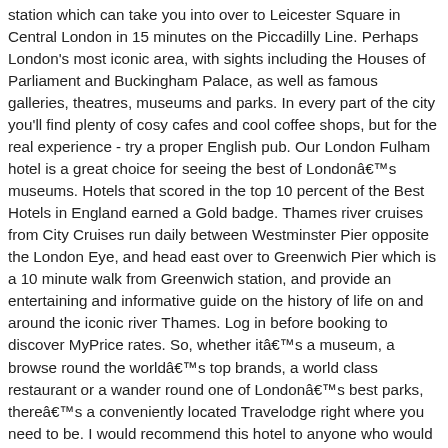station which can take you into over to Leicester Square in Central London in 15 minutes on the Piccadilly Line. Perhaps London's most iconic area, with sights including the Houses of Parliament and Buckingham Palace, as well as famous galleries, theatres, museums and parks. In every part of the city you'll find plenty of cosy cafes and cool coffee shops, but for the real experience - try a proper English pub. Our London Fulham hotel is a great choice for seeing the best of Londonâs museums. Hotels that scored in the top 10 percent of the Best Hotels in England earned a Gold badge. Thames river cruises from City Cruises run daily between Westminster Pier opposite the London Eye, and head east over to Greenwich Pier which is a 10 minute walk from Greenwich station, and provide an entertaining and informative guide on the history of life on and around the iconic river Thames. Log in before booking to discover MyPrice rates. So, whether itâs a museum, a browse round the worldâs top brands, a world class restaurant or a wander round one of Londonâs best parks, thereâs a conveniently located Travelodge right where you need to be. I would recommend this hotel to anyone who would like to stay in a luxurious hotel and have a royal treatment. Stratford tube station is only a 7 minute walk away from the hotel, and after a short 8 minute tube ride, youâll arrive at North Greenwich station which is right outside the front door to the venue. Cancel free on most hotels. Built in the 1920s, the hotel has kept a number of original art deco features, but it also has plenty of modern